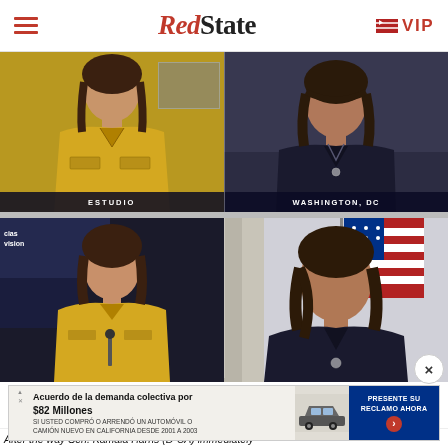RedState | VIP
[Figure (screenshot): Split-screen TV interview still: left side shows a female anchor in yellow jacket (ESTUDIO), right side shows a woman in dark blazer (WASHINGTON, DC). Lower-third chyron shows ESTUDIO on left and WASHINGTON, DC on right.]
[Figure (screenshot): Second split-screen TV screenshot: same female anchor in yellow jacket on left (Univision/Noticias), Kamala Harris in dark suit on right with American flag in background.]
[Figure (photo): Ad banner: Acuerdo de la demanda colectiva por $82 Millones - Si usted compro o arrendo un automovil o camion nuevo en California desde 2001 a 2003. PRESENTE SU RECLAMO AHORA.]
After the way Sen. Kamala Harris (D-CA) immediately